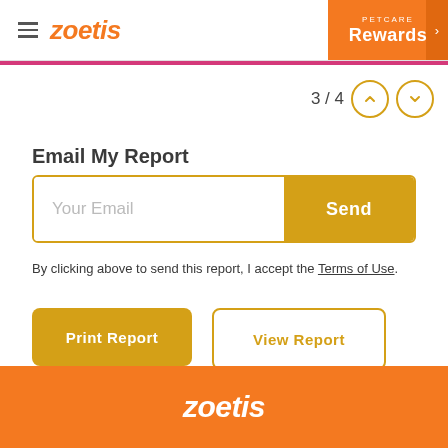zoetis | PETCARE Rewards
Email My Report
Your Email
Send
By clicking above to send this report, I accept the Terms of Use.
Print Report
View Report
zoetis